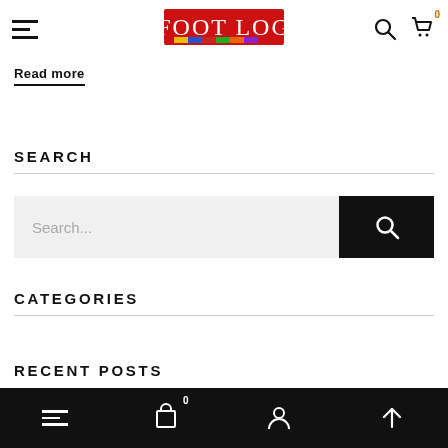Foot Log - navigation bar with hamburger menu, logo, search and cart icons
Read more
SEARCH
Search...
CATEGORIES
RECENT POSTS
Bottom navigation bar with hamburger, cart (0), account, and up arrow icons